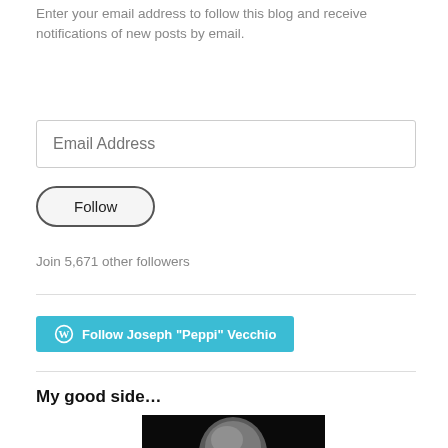Enter your email address to follow this blog and receive notifications of new posts by email.
[Figure (other): Email Address input field with placeholder text 'Email Address']
[Figure (other): Follow button with rounded pill border styling]
Join 5,671 other followers
[Figure (other): WordPress Follow button: Follow Joseph "Peppi" Vecchio in teal/cyan color]
My good side…
[Figure (photo): Black and white portrait photo of a bald man looking intensely at the camera against a dark background]